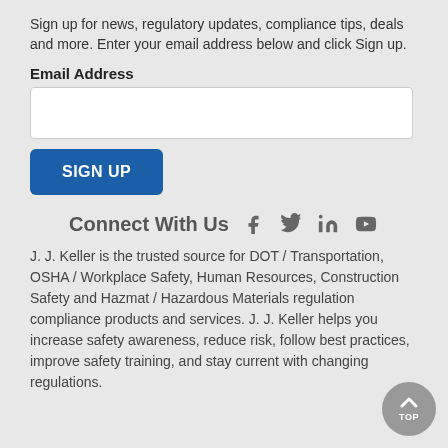Sign up for news, regulatory updates, compliance tips, deals and more. Enter your email address below and click Sign up.
Email Address
[Figure (other): Email address input text field, white background with border]
[Figure (other): Blue Sign Up button]
Connect With Us [Facebook] [Twitter] [LinkedIn] [YouTube]
J. J. Keller is the trusted source for DOT / Transportation, OSHA / Workplace Safety, Human Resources, Construction Safety and Hazmat / Hazardous Materials regulation compliance products and services. J. J. Keller helps you increase safety awareness, reduce risk, follow best practices, improve safety training, and stay current with changing regulations.